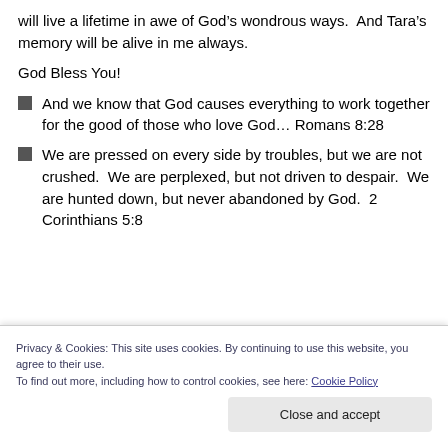will live a lifetime in awe of God’s wondrous ways.  And Tara’s memory will be alive in me always.
God Bless You!
And we know that God causes everything to work together for the good of those who love God… Romans 8:28
We are pressed on every side by troubles, but we are not crushed.  We are perplexed, but not driven to despair.  We are hunted down, but never abandoned by God.  2 Corinthians 5:8
Privacy & Cookies: This site uses cookies. By continuing to use this website, you agree to their use.
To find out more, including how to control cookies, see here: Cookie Policy